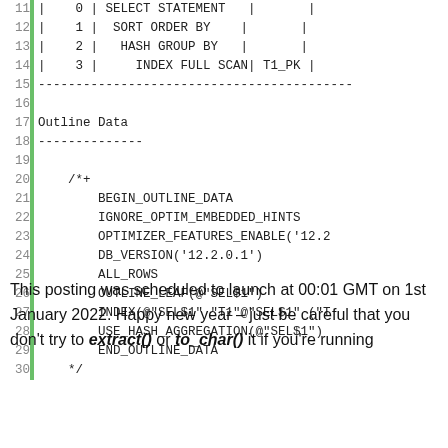11  | 0 | SELECT STATEMENT   |       |
12  | 1 |  SORT ORDER BY    |       |
13  | 2 |   HASH GROUP BY   |       |
14  | 3 |    INDEX FULL SCAN| T1_PK |
15  -------------------------------------------
16
17  Outline Data
18  --------------
19
20      /*+
21          BEGIN_OUTLINE_DATA
22          IGNORE_OPTIM_EMBEDDED_HINTS
23          OPTIMIZER_FEATURES_ENABLE('12.2
24          DB_VERSION('12.2.0.1')
25          ALL_ROWS
26          OUTLINE_LEAF(@"SEL$1")
27          INDEX(@"SEL$1" "T1"@"SEL$1" ("T
28          USE_HASH_AGGREGATION(@"SEL$1")
29          END_OUTLINE_DATA
30      */
This posting was scheduled to launch at 00:01 GMT on 1st January 2022. Happy new year – just be careful that you don't try to extract() or to_char() it if you're running